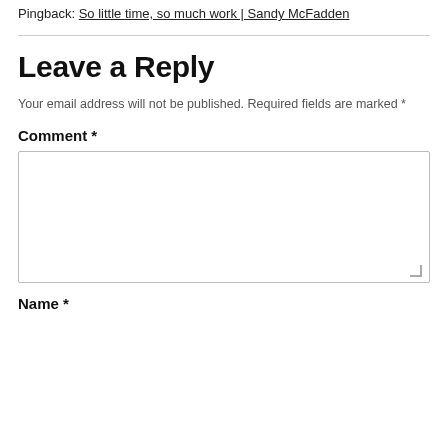Pingback: So little time, so much work | Sandy McFadden
Leave a Reply
Your email address will not be published. Required fields are marked *
Comment *
Name *